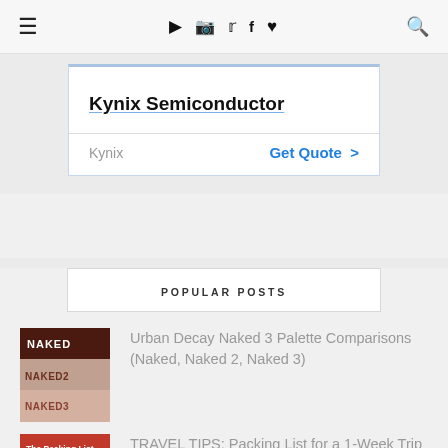≡ ▶ 📷 🐦 f ♥ 🔍
[Figure (screenshot): Advertisement box for Kynix Semiconductor with title text 'Kynix Semiconductor' underlined in blue, a divider, and a footer row showing 'Kynix' on the left and 'Get Quote >' in blue on the right]
POPULAR POSTS
[Figure (photo): Thumbnail image showing three Urban Decay Naked eyeshadow palette boxes stacked: Naked (dark brown), Naked2 (light pink), Naked3 (rose gold)]
Urban Decay Naked 3 Palette Comparisons (Naked, Naked 2, Naked 3)
[Figure (photo): Thumbnail image with red background showing text 'The Packing List 1 week trip']
TRAVEL TIPS: Packing List for a 1-Week Trip